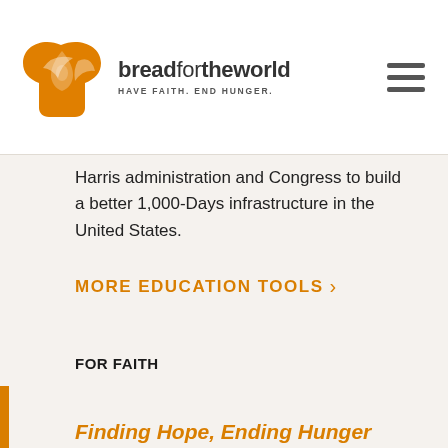bread for the world — HAVE FAITH. END HUNGER.
Harris administration and Congress to build a better 1,000-Days infrastructure in the United States.
MORE EDUCATION TOOLS >
FOR FAITH
Finding Hope, Ending Hunger